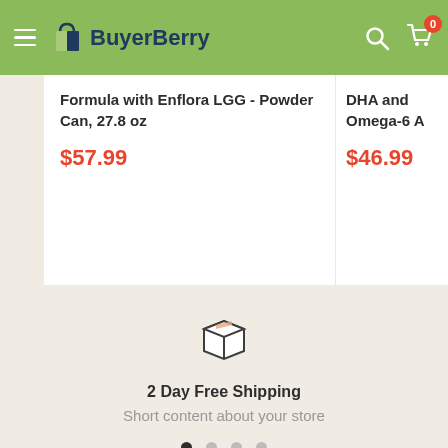BuyerBerry
Formula with Enflora LGG - Powder Can, 27.8 oz
$57.99
DHA and Omega-6 A
$46.99
[Figure (illustration): Box/package shipping icon outline illustration]
2 Day Free Shipping
Short content about your store